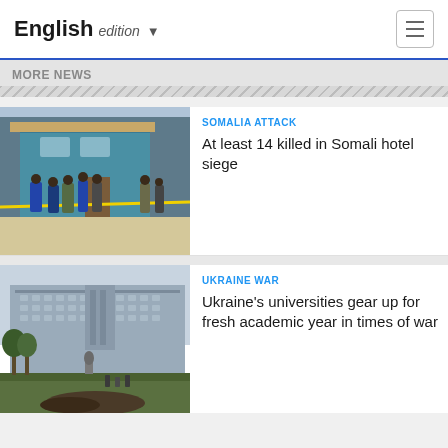English edition
MORE NEWS
[Figure (photo): Police officers and security personnel standing outside a building with yellow crime scene tape, Somalia attack scene]
SOMALIA ATTACK
At least 14 killed in Somali hotel siege
[Figure (photo): A large government or university building with people and a monument visible in the foreground, Ukraine]
UKRAINE WAR
Ukraine's universities gear up for fresh academic year in times of war